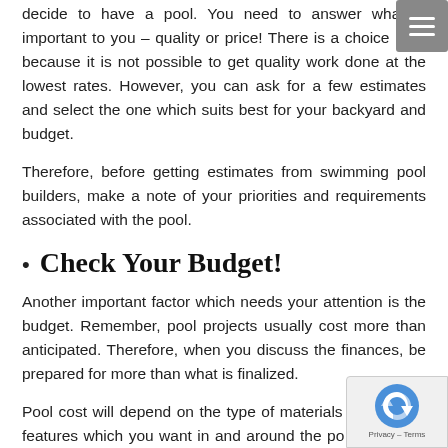decide to have a pool. You need to answer what is important to you – quality or price! There is a choice here because it is not possible to get quality work done at the lowest rates. However, you can ask for a few estimates and select the one which suits best for your backyard and budget.
Therefore, before getting estimates from swimming pool builders, make a note of your priorities and requirements associated with the pool.
Check Your Budget!
Another important factor which needs your attention is the budget. Remember, pool projects usually cost more than anticipated. Therefore, when you discuss the finances, be prepared for more than what is finalized.
Pool cost will depend on the type of materials used, extra features which you want in and around the pool, can vary drastically as per your taste.